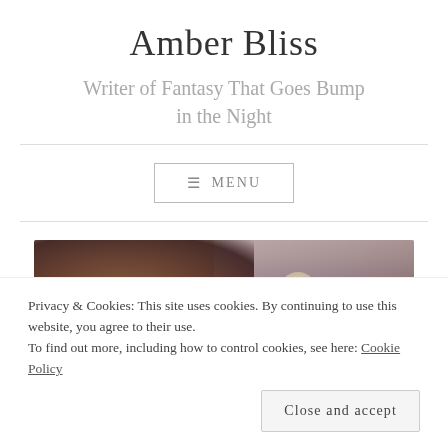Amber Bliss
Writer of Fantasy That Goes Bump in the Night
≡ MENU
[Figure (photo): A moody night sky photo showing dark clouds with warm brown and orange tones on the left, a full moon visible in the center-right, and a purple-grey sky on the right.]
Privacy & Cookies: This site uses cookies. By continuing to use this website, you agree to their use.
To find out more, including how to control cookies, see here: Cookie Policy
Close and accept